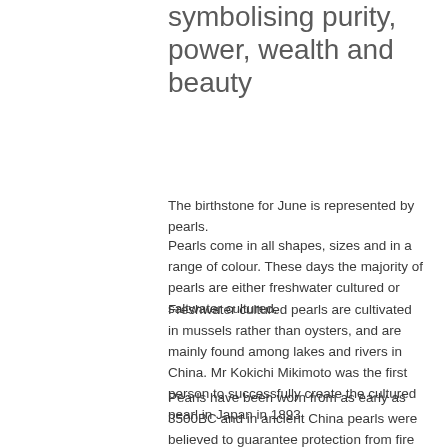symbolising purity, power, wealth and beauty
The birthstone for June is represented by pearls.
Pearls come in all shapes, sizes and in a range of colour. These days the majority of pearls are either freshwater cultured or saltwater cultured.
Freshwater cultured pearls are cultivated in mussels rather than oysters, and are mainly found among lakes and rivers in China. Mr Kokichi Mikimoto was the first person to successfully create the cultured pearl in Japan in 1893.
Pearls have been worn from as early as 3500BC and in ancient China pearls were believed to guarantee protection from fire and fire breathing dragons. They have long been a symbol of purity, power, wealth and beauty, the ancient Greeks believing that pearls were the hardened tears of joy from Aphrodite the goddess of love.